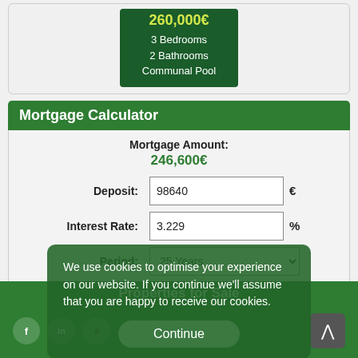260,000€
3 Bedrooms
2 Bathrooms
Communal Pool
Mortgage Calculator
Mortgage Amount:
246,600€
Deposit: 98640 €
Interest Rate: 3.229 %
Period: 25 Years
Calculate
We use cookies to optimise your experience on our website. If you continue we'll assume that you are happy to receive our cookies.
Continue
Properties for Sale